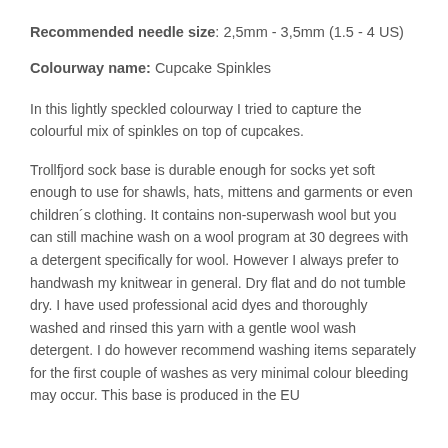Recommended needle size: 2,5mm - 3,5mm (1.5 - 4 US)
Colourway name: Cupcake Spinkles
In this lightly speckled colourway I tried to capture the colourful mix of spinkles on top of cupcakes.
Trollfjord sock base is durable enough for socks yet soft enough to use for shawls, hats, mittens and garments or even children´s clothing. It contains non-superwash wool but you can still machine wash on a wool program at 30 degrees with a detergent specifically for wool. However I always prefer to handwash my knitwear in general. Dry flat and do not tumble dry. I have used professional acid dyes and thoroughly washed and rinsed this yarn with a gentle wool wash detergent. I do however recommend washing items separately for the first couple of washes as very minimal colour bleeding may occur. This base is produced in the EU.